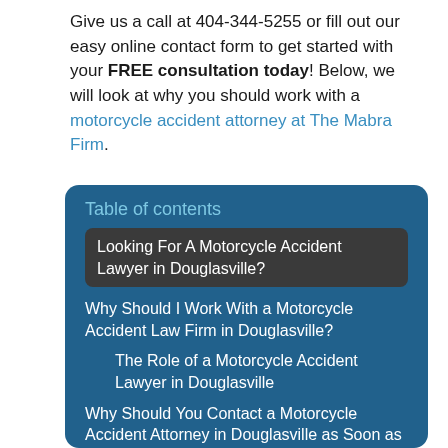Give us a call at 404-344-5255 or fill out our easy online contact form to get started with your FREE consultation today! Below, we will look at why you should work with a motorcycle accident attorney at The Mabra Firm.
Table of contents
Looking For A Motorcycle Accident Lawyer in Douglasville?
Why Should I Work With a Motorcycle Accident Law Firm in Douglasville?
The Role of a Motorcycle Accident Lawyer in Douglasville
Why Should You Contact a Motorcycle Accident Attorney in Douglasville as Soon as Possible
Help in the Most Difficult Moments
Avoid Losing Evidence and Witnesses
Don't Miss the Statute of Limitations